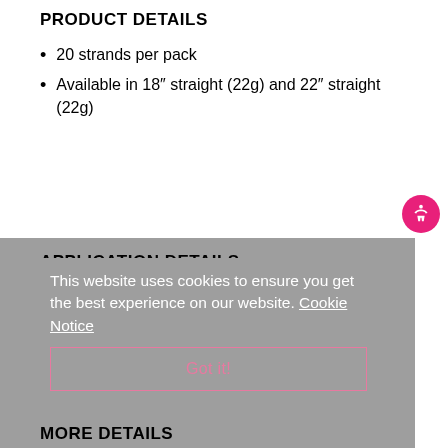PRODUCT DETAILS
20 strands per pack
Available in 18" straight (22g) and 22" straight (22g)
APPLICATION DETAILS
This website uses cookies to ensure you get the best experience on our website. Cookie Notice
Application time: ~2 hours
Extensions may be reapplied up to three times
Hair lasts 3-6 months with proper care
Got it!
MORE DETAILS